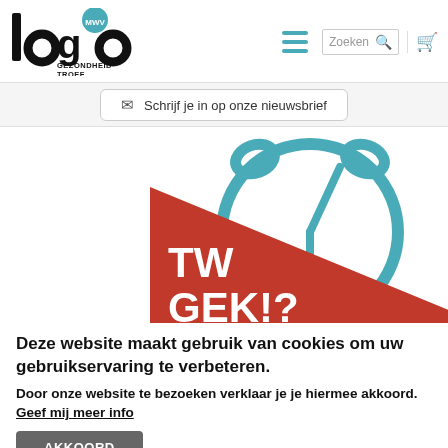[Figure (logo): Logo MWV Gezondheid Troef with stylized letter forms]
[Figure (illustration): Campaign image showing a red triangle with 'Tu GEK!?' text and a teal alarm clock outline]
Schrijf je in op onze nieuwsbrief
Deze website maakt gebruik van cookies om uw gebruikservaring te verbeteren.
Door onze website te bezoeken verklaar je je hiermee akkoord. Geef mij meer info
AKKOORD